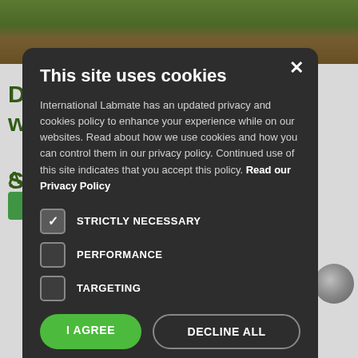[Figure (screenshot): Background webpage showing a nature/lab image at top and green text headlines partially visible behind a cookie consent modal dialog]
This site uses cookies
International Labmate has an updated privacy and cookies policy to enhance your experience while on our websites. Read about how we use cookies and how you can control them in our privacy policy. Continued use of this site indicates that you accept this policy. Read our Privacy Policy
STRICTLY NECESSARY (checked)
PERFORMANCE (unchecked)
TARGETING (unchecked)
I AGREE | DECLINE ALL
SHOW DETAILS